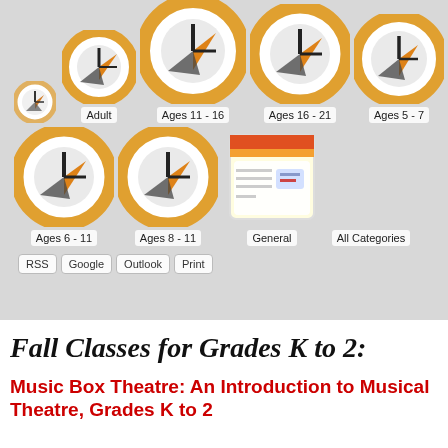[Figure (screenshot): Calendar filter UI showing clock icons for age groups (Adult, Ages 11-16, Ages 16-21, Ages 5-7, Ages 6-11, Ages 8-11, General, All Categories) with RSS, Google, Outlook, Print buttons]
Fall Classes for Grades K to 2:
Music Box Theatre: An Introduction to Musical Theatre, Grades K to 2